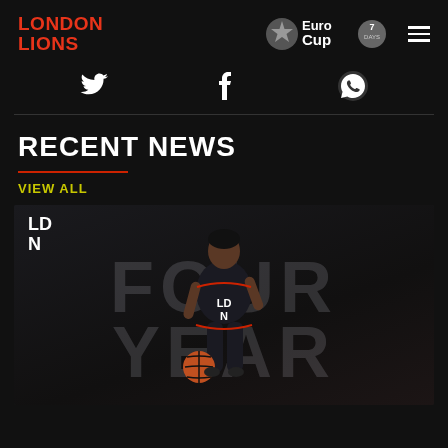LONDON LIONS | EuroCup 7DAYS
[Figure (screenshot): Social media icons: Twitter, Facebook, WhatsApp]
RECENT NEWS
VIEW ALL
[Figure (photo): Basketball player in London Lions (LDN) jersey dribbling, with large text 'FOUR YEAR' in background]